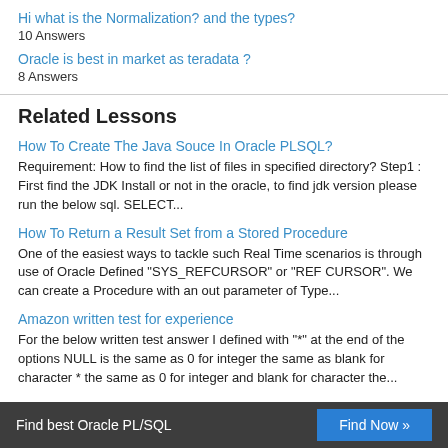Hi what is the Normalization? and the types?
10 Answers
Oracle is best in market as teradata ?
8 Answers
Related Lessons
How To Create The Java Souce In Oracle PLSQL?
Requirement: How to find the list of files in specified directory? Step1 : First find the JDK Install or not in the oracle, to find jdk version please run the below sql. SELECT...
How To Return a Result Set from a Stored Procedure
One of the easiest ways to tackle such Real Time scenarios is through use of Oracle Defined "SYS_REFCURSOR" or "REF CURSOR". We can create a Procedure with an out parameter of Type...
Amazon written test for experience
For the below written test answer I defined with "*" at the end of the options NULL is the same as 0 for integer the same as blank for character * the same as 0 for integer and blank for character the...
Find best Oracle PL/SQL   Find Now »